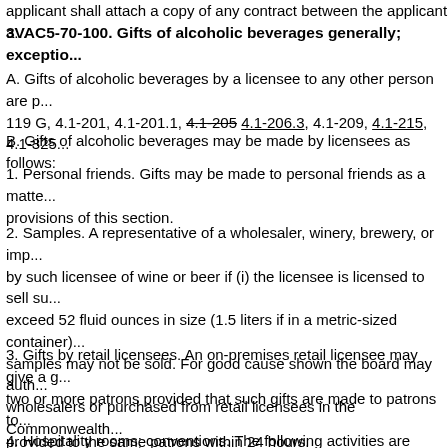applicant shall attach a copy of any contract between the applicant a...
3VAC5-70-100. Gifts of alcoholic beverages generally; exceptio...
A. Gifts of alcoholic beverages by a licensee to any other person are p... 119 G, 4.1-201, 4.1-201.1, 4.1-205 4.1-206.3, 4.1-209, 4.1-215, 4.1-325...
B. Gifts of alcoholic beverages may be made by licensees as follows:
1. Personal friends. Gifts may be made to personal friends as a matte... provisions of this section.
2. Samples. A representative of a wholesaler, winery, brewery, or imp... by such licensee of wine or beer if (i) the licensee is licensed to sell su... exceed 52 fluid ounces in size (1.5 liters if in a metric-sized container)... samples may not be sold. For good cause shown the board may auth... wholesalers or purchased from retail licensees in the Commonwealth...
3. Gifts by retail licensees. An on-premises retail licensee may give a g... two or more patrons provided that such gifts are made to patrons to... provided to the same patrons within 24 hours.
4. Hospitality rooms; conventions. The following activities are permitt...